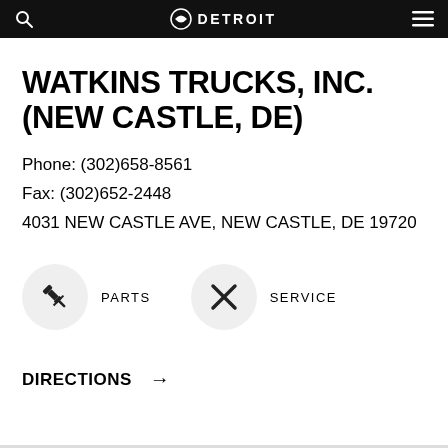DETROIT
WATKINS TRUCKS, INC. (NEW CASTLE, DE)
Phone: (302)658-8561
Fax: (302)652-2448
4031 NEW CASTLE AVE, NEW CASTLE, DE 19720
[Figure (infographic): Two circular icons: a parts/wrench icon labeled PARTS and a crossed-wrench/screwdriver icon labeled SERVICE]
DIRECTIONS →